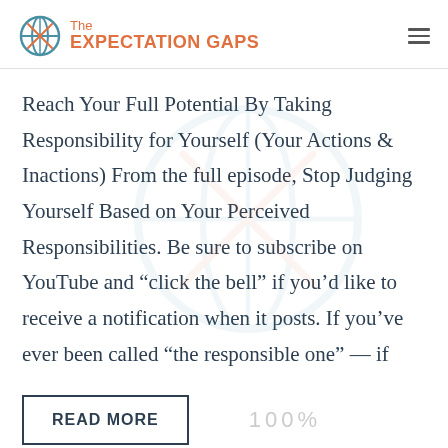The EXPECTATION GAPS
Reach Your Full Potential By Taking Responsibility for Yourself (Your Actions & Inactions) From the full episode, Stop Judging Yourself Based on Your Perceived Responsibilities. Be sure to subscribe on YouTube and “click the bell” if you’d like to receive a notification when it posts. If you’ve ever been called “the responsible one” — if
READ MORE
100%